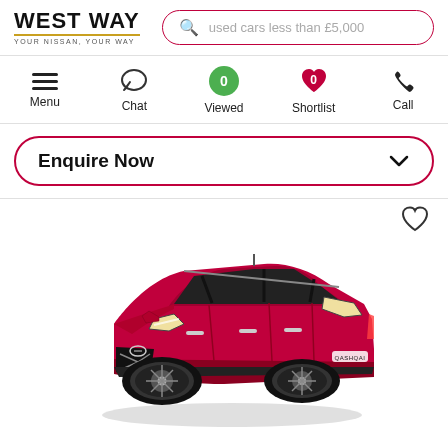WEST WAY — YOUR NISSAN, YOUR WAY
used cars less than £5,000
[Figure (screenshot): Navigation bar with Menu, Chat, Viewed (0), Shortlist (0), Call icons]
Enquire Now
[Figure (photo): Red Nissan Qashqai SUV car shown in three-quarter front view on white background]